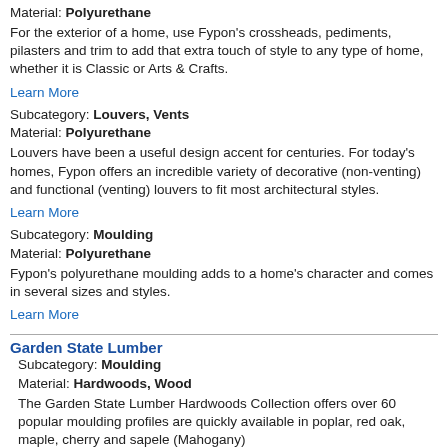Material: Polyurethane
For the exterior of a home, use Fypon's crossheads, pediments, pilasters and trim to add that extra touch of style to any type of home, whether it is Classic or Arts & Crafts.
Learn More
Subcategory: Louvers, Vents
Material: Polyurethane
Louvers have been a useful design accent for centuries. For today's homes, Fypon offers an incredible variety of decorative (non-venting) and functional (venting) louvers to fit most architectural styles.
Learn More
Subcategory: Moulding
Material: Polyurethane
Fypon's polyurethane moulding adds to a home's character and comes in several sizes and styles.
Learn More
Garden State Lumber
Subcategory: Moulding
Material: Hardwoods, Wood
The Garden State Lumber Hardwoods Collection offers over 60 popular moulding profiles are quickly available in poplar, red oak, maple, cherry and sapele (Mahogany)